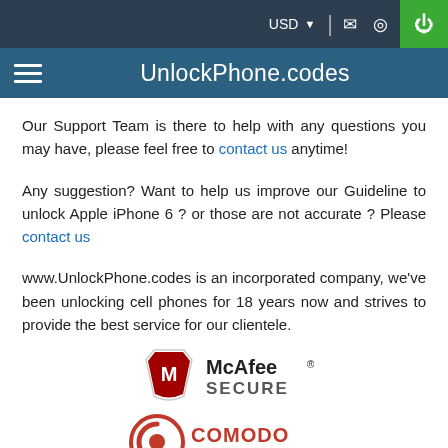USD  [mail icon] [location icon] [power icon]
UnlockPhone.codes
Our Support Team is there to help with any questions you may have, please feel free to contact us anytime!
Any suggestion? Want to help us improve our Guideline to unlock Apple iPhone 6 ? or those are not accurate ? Please contact us
www.UnlockPhone.codes is an incorporated company, we've been unlocking cell phones for 18 years now and strives to provide the best service for our clientele.
[Figure (logo): McAfee SECURE badge logo]
[Figure (logo): Comodo SSL Certificate badge logo]